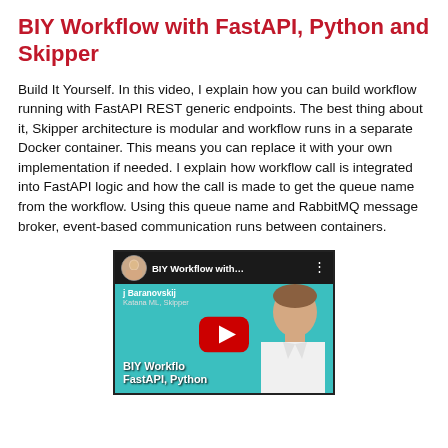BIY Workflow with FastAPI, Python and Skipper
Build It Yourself. In this video, I explain how you can build workflow running with FastAPI REST generic endpoints. The best thing about it, Skipper architecture is modular and workflow runs in a separate Docker container. This means you can replace it with your own implementation if needed. I explain how workflow call is integrated into FastAPI logic and how the call is made to get the queue name from the workflow. Using this queue name and RabbitMQ message broker, event-based communication runs between containers.
[Figure (screenshot): YouTube video thumbnail for 'BIY Workflow with FastAPI, Python and Skipper' by Baranovskij, Katana ML, Skipper. Shows a teal background with two people, a YouTube play button, and the video title text at the bottom.]